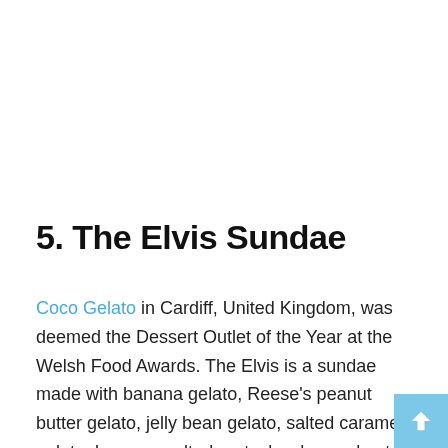5. The Elvis Sundae
Coco Gelato in Cardiff, United Kingdom, was deemed the Dessert Outlet of the Year at the Welsh Food Awards. The Elvis is a sundae made with banana gelato, Reese's peanut butter gelato, jelly bean gelato, salted caramel gelato, banana, salted pretzels, chopped nuts, brownie pieces, marshmallow pieces, and whipped cream.